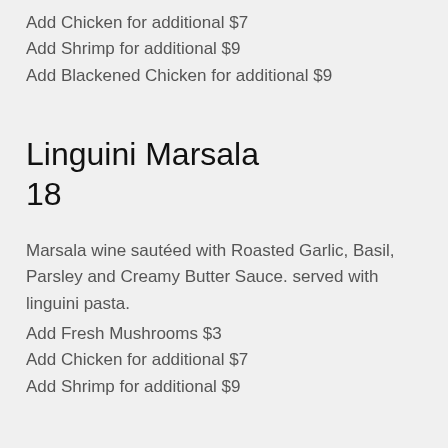Add Chicken for additional $7
Add Shrimp for additional $9
Add Blackened Chicken for additional $9
Linguini Marsala
18
Marsala wine sautéed with Roasted Garlic, Basil, Parsley and Creamy Butter Sauce. served with linguini pasta.
Add Fresh Mushrooms $3
Add Chicken for additional $7
Add Shrimp for additional $9
Linguini Piccata
18
White wine and Creamy Butter Sauce. sautéed with...